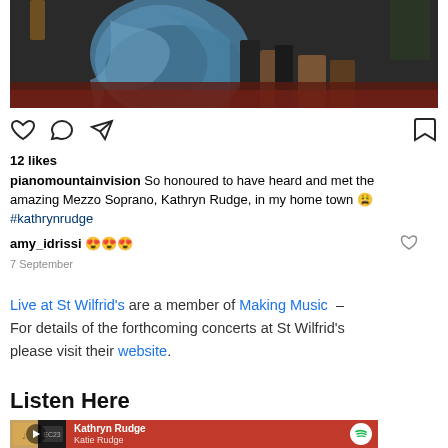[Figure (photo): Partial photo showing lower portions of people standing, one wearing a blue/teal dress, another in brown boots, taken at a concert venue with red floor]
12 likes
pianomountainvision So honoured to have heard and met the amazing Mezzo Soprano, Kathryn Rudge, in my home town 😩 #kathrynrudge
amy_idrissi 😍😍😍
7 September
Live at St Wilfrid's are a member of Making Music – For details of the forthcoming concerts at St Wilfrid's please visit their website.
Listen Here
[Figure (screenshot): Spotify player bar showing Kathryn Rudge artist with album art thumbnails, artist name in white on dark red background with Spotify logo]